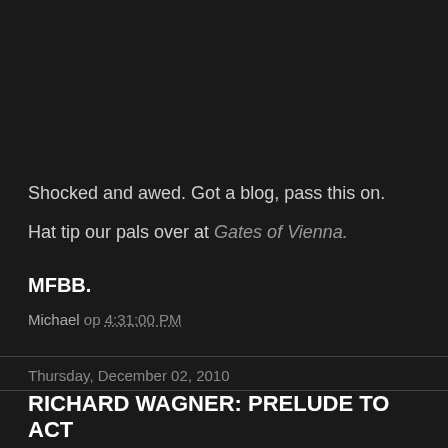Shocked and awed. Got a blog, pass this on.
Hat tip our pals over at Gates of Vienna.
MFBB.
Michael op 4:31:00 PM
Thursday, December 02, 2010
RICHARD WAGNER: PRELUDE TO ACT 1 OF PARSIFAL